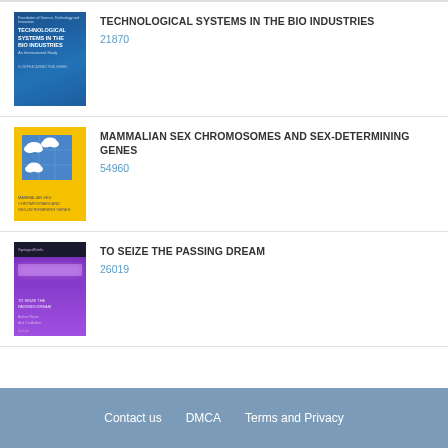[Figure (illustration): Book cover: Technological Systems in the Bio Industries, blue cover]
TECHNOLOGICAL SYSTEMS IN THE BIO INDUSTRIES
21870
[Figure (illustration): Book cover: Mammalian Sex Chromosomes and Sex-Determining Genes, yellow cover with cloud illustrations]
MAMMALIAN SEX CHROMOSOMES AND SEX-DETERMINING GENES
54960
[Figure (illustration): Book cover: To Seize the Passing Dream, purple cover]
TO SEIZE THE PASSING DREAM
26019
Contact us   DMCA   Terms and Privacy